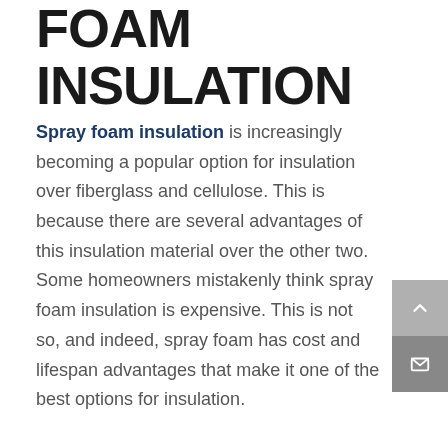FOAM INSULATION
Spray foam insulation is increasingly becoming a popular option for insulation over fiberglass and cellulose. This is because there are several advantages of this insulation material over the other two. Some homeowners mistakenly think spray foam insulation is expensive. This is not so, and indeed, spray foam has cost and lifespan advantages that make it one of the best options for insulation.